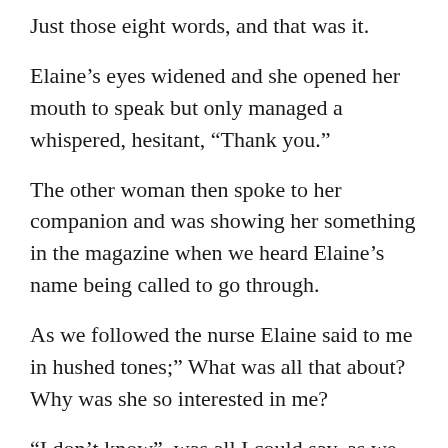Just those eight words, and that was it.
Elaine’s eyes widened and she opened her mouth to speak but only managed a whispered, hesitant, “Thank you.”
The other woman then spoke to her companion and was showing her something in the magazine when we heard Elaine’s name being called to go through.
As we followed the nurse Elaine said to me in hushed tones;” What was all that about? Why was she so interested in me?
“I don’t know”, was all I could say, as we had now reached the office of Doctor Chakrabarti and were shown in.